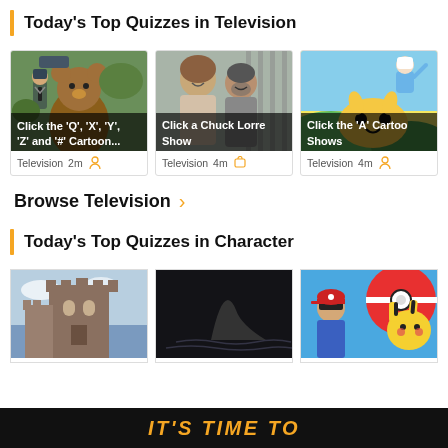Today's Top Quizzes in Television
[Figure (screenshot): Card: cartoon image with overlay text 'Click the Q, X, Y, Z and # Cartoon...']
[Figure (screenshot): Card: photo of man and woman with overlay text 'Click a Chuck Lorre Show']
[Figure (screenshot): Card: cartoon image with overlay text 'Click the A Cartoon Shows']
Browse Television >
Today's Top Quizzes in Character
[Figure (screenshot): Bottom card: castle building photo]
[Figure (screenshot): Bottom card: dark background with shark fin silhouette]
[Figure (screenshot): Bottom card: Pokemon cartoon image]
IT'S TIME TO